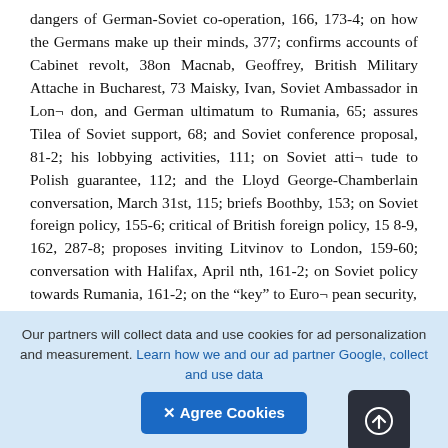dangers of German-Soviet co-operation, 166, 173-4; on how the Germans make up their minds, 377; confirms accounts of Cabinet revolt, 38on Macnab, Geoffrey, British Military Attache in Bucharest, 73 Maisky, Ivan, Soviet Ambassador in London, and German ultimatum to Rumania, 65; assures Tilea of Soviet support, 68; and Soviet conference proposal, 81-2; his lobbying activities, 111; on Soviet attitude to Polish guarantee, 112; and the Lloyd George-Chamberlain conversation, March 31st, 115; briefs Boothby, 153; on Soviet foreign policy, 155-6; critical of British foreign policy, 15 8-9, 162, 287-8; proposes inviting Litvinov to London, 159-60; conversation with Halifax, April nth, 161-2; on Soviet policy towards Rumania, 161-2; on the “key” to European security,
Our partners will collect data and use cookies for ad personalization and measurement. Learn how we and our ad partner Google, collect and use data
[Figure (other): Upload/share button icon (dark rounded square with circle-up-arrow icon)]